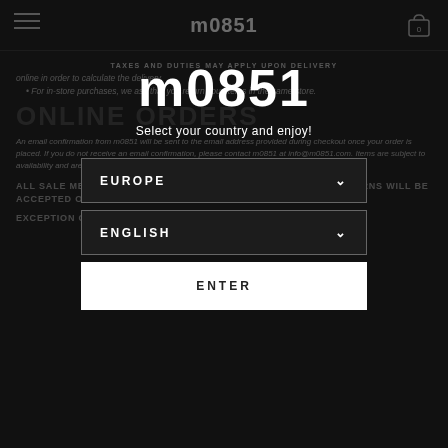m0851
TAXES AND DUTIES MAY APPLY UPON DELIVERY
online in order to calculate the delivery.
For in-store purchases, we ask that you return your items in the same store.
ONLINE ORDERS
An email confirmation from m0851 will be sent to the email address provided during checkout once your order is placed. If you do not receive an email confirmation, please contact m0851 at info@m0851.com. Items are subject to availability and are not guaranteed. Delays may be experienced during the holiday season.
ALL SALE MERCHANDISE IS FINAL SALE. NO EXCHANGES OR RETURNS WILL BE ACCEPTED ON SALE MERCHANDISE.
EXCEPTION ON GARMENTS AND OUTERWEAR.
[Figure (screenshot): Modal overlay with m0851 logo, 'Select your country and enjoy!' subtitle, EUROPE dropdown, ENGLISH dropdown, and ENTER button]